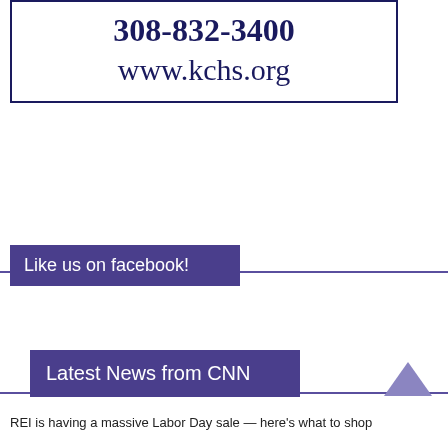[Figure (other): Box with phone number 308-832-3400 and website www.kchs.org, dark navy border]
Like us on facebook!
Latest News from CNN
REI is having a massive Labor Day sale — here's what to shop